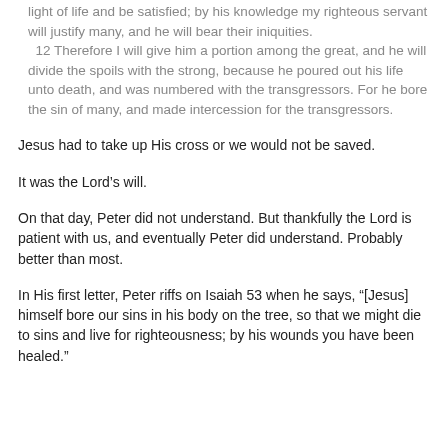light of life and be satisfied; by his knowledge my righteous servant will justify many, and he will bear their iniquities.
  12 Therefore I will give him a portion among the great, and he will divide the spoils with the strong, because he poured out his life unto death, and was numbered with the transgressors. For he bore the sin of many, and made intercession for the transgressors.
Jesus had to take up His cross or we would not be saved.
It was the Lord’s will.
On that day, Peter did not understand. But thankfully the Lord is patient with us, and eventually Peter did understand. Probably better than most.
In His first letter, Peter riffs on Isaiah 53 when he says, “[Jesus] himself bore our sins in his body on the tree, so that we might die to sins and live for righteousness; by his wounds you have been healed.”